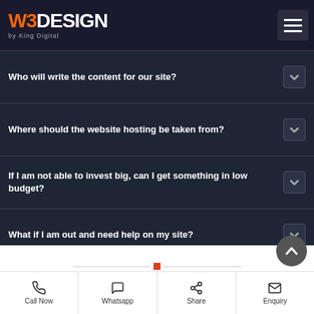[Figure (logo): W3DESIGN by King Digital logo with orange W3 and white DESIGN text, hamburger menu button top right]
Who will write the content for our site?
Where should the website hosting be taken from?
If I am not able to invest big, can I get something in low budget?
What if I am out and need help on my site?
[Figure (infographic): Decorative horizontal line with orange dot divider, followed by gold/gray strip and purple banner section]
Call Now  Whatsapp  Share  Enquiry